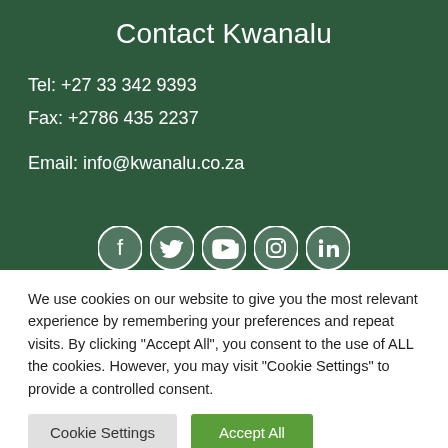Contact Kwanalu
Tel: +27 33 342 9393
Fax: +2786 435 2237
Email: info@kwanalu.co.za
[Figure (infographic): Social media icons row: Facebook, Twitter, YouTube, Instagram, LinkedIn — white icons on dark green circles]
We use cookies on our website to give you the most relevant experience by remembering your preferences and repeat visits. By clicking “Accept All”, you consent to the use of ALL the cookies. However, you may visit "Cookie Settings" to provide a controlled consent.
Cookie Settings | Accept All